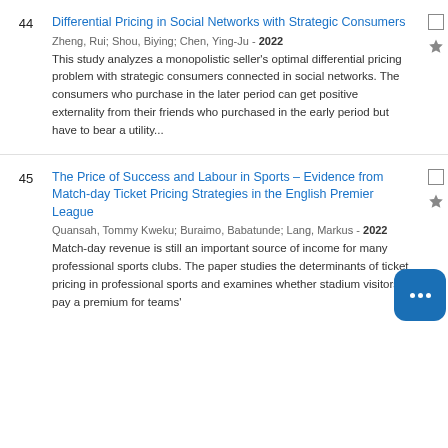44 — Differential Pricing in Social Networks with Strategic Consumers. Zheng, Rui; Shou, Biying; Chen, Ying-Ju - 2022. This study analyzes a monopolistic seller's optimal differential pricing problem with strategic consumers connected in social networks. The consumers who purchase in the later period can get positive externality from their friends who purchased in the early period but have to bear a utility...
45 — The Price of Success and Labour in Sports – Evidence from Match-day Ticket Pricing Strategies in the English Premier League. Quansah, Tommy Kweku; Buraimo, Babatunde; Lang, Markus - 2022. Match-day revenue is still an important source of income for many professional sports clubs. The paper studies the determinants of ticket pricing in professional sports and examines whether stadium visitors pay a premium for teams'